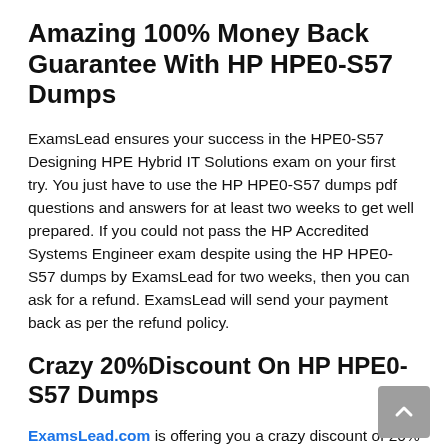Amazing 100% Money Back Guarantee With HP HPE0-S57 Dumps
ExamsLead ensures your success in the HPE0-S57 Designing HPE Hybrid IT Solutions exam on your first try. You just have to use the HP HPE0-S57 dumps pdf questions and answers for at least two weeks to get well prepared. If you could not pass the HP Accredited Systems Engineer exam despite using the HP HPE0-S57 dumps by ExamsLead for two weeks, then you can ask for a refund. ExamsLead will send your payment back as per the refund policy.
Crazy 20%Discount On HP HPE0-S57 Dumps
ExamsLead.com is offering you a crazy discount of 20% on purchasing the HP HPE0-